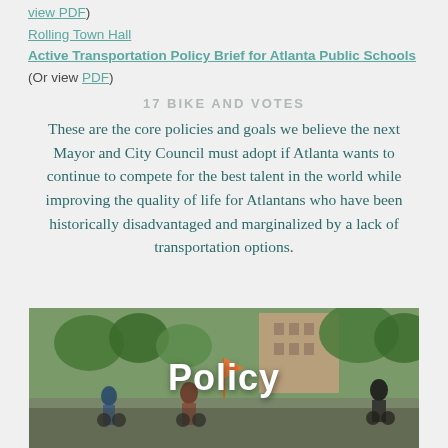view PDF)
Rolling Town Hall
Active Transportation Policy Brief for Atlanta Public Schools (Or view PDF)
17 BIKE AND VOTES
These are the core policies and goals we believe the next Mayor and City Council must adopt if Atlanta wants to continue to compete for the best talent in the world while improving the quality of life for Atlantans who have been historically disadvantaged and marginalized by a lack of transportation options.
[Figure (photo): Photo of cyclists at a group bike ride event in Atlanta, with the word 'Policy' overlaid in white text. Urban street scene with trees and buildings in the background.]